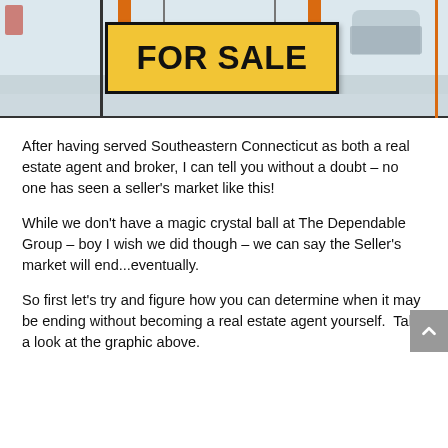[Figure (photo): A 'FOR SALE' real estate sign with yellow board and orange posts, mounted outdoors in a winter/snowy setting with a car visible in the background.]
After having served Southeastern Connecticut as both a real estate agent and broker, I can tell you without a doubt – no one has seen a seller's market like this!
While we don't have a magic crystal ball at The Dependable Group – boy I wish we did though – we can say the Seller's market will end...eventually.
So first let's try and figure how you can determine when it may be ending without becoming a real estate agent yourself.  Take a look at the graphic above.